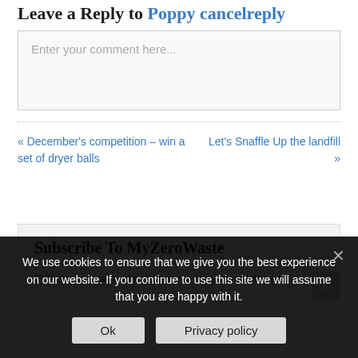Leave a Reply to Poppy cancelreply
Enter your comment here...
« December's competition – win a set of dryer balls
Let's Snaffle Up the landfill »
Subscribe To MyZeroWaste
Enter your email address below to receive updates each
We use cookies to ensure that we give you the best experience on our website. If you continue to use this site we will assume that you are happy with it.
Ok
Privacy policy